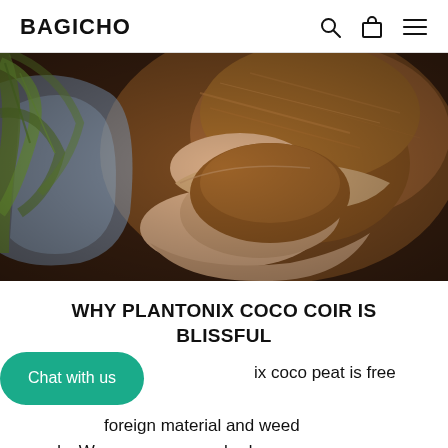BAGICHO
[Figure (photo): Hands holding brown coco coir/peat soil with green leaves and blue plastic bag in background]
WHY PLANTONIX COCO COIR IS BLISSFUL
Plantonix coco peat is free from foreign material and weed seeds. We screen our washed raw